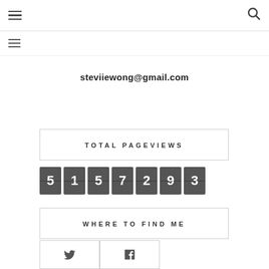Navigation header with hamburger menu and search icon
steviiewong@gmail.com
TOTAL PAGEVIEWS
[Figure (other): Odometer-style counter displaying 5157293]
WHERE TO FIND ME
[Figure (other): Social media icons: Twitter and Facebook]